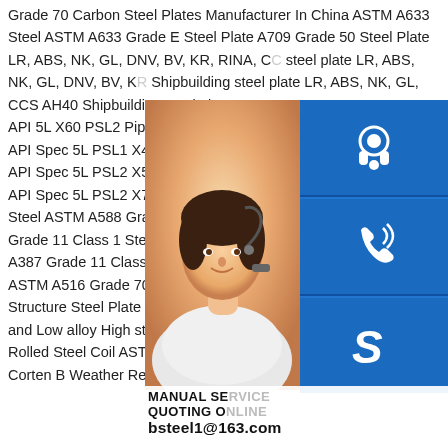Grade 70 Carbon Steel Plates Manufacturer In China ASTM A633 Steel ASTM A633 Grade E Steel Plate A709 Grade 50 Steel Plate LR, ABS, NK, GL, DNV, BV, KR, RINA, CC steel plate LR, ABS, NK, GL, DNV, BV, KR Shipbuilding steel plate LR, ABS, NK, GL, CCS AH40 Shipbuilding steel plate API 5L API 5L X60 PSL2 Pipeline API 5L PSL1 XS API Spec 5L PSL1 X42 Pipeline API Spec API Spec 5L PSL2 X56 Pipeline API Spec API Spec 5L PSL2 X70 Pipeline ASME SA Steel ASTM A588 Grade B Corrosion Res Grade 11 Class 1 Steel ASTM A387 Grade A387 Grade 11 Class 1 Steel ASTM A387 Grade 11 Class 1 Steel ASTM A516 Grade 70 Steel Plate Alloy Steel Plate Automobile Structure Steel Plate Boiler and Pressure vessel steel plate Carbon and Low alloy High strength Steel Plate Clad Steel Plate Cold Rolled Steel Coil ASTM Corten A Weathering Resistant Steel Corten B Weather Resistant Steel LR, ABS, NK, GL, DNV, BV, KR,
[Figure (photo): Photo of a woman with headset (customer service representative) with a warm background]
[Figure (infographic): Three blue sidebar icons: customer service headset icon, phone call icon, and Skype icon]
MANUAL SE... QUOTING O... bsteel1@163.com